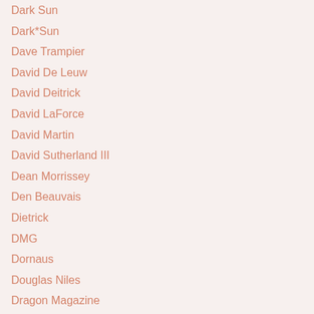Dark Sun
Dark*Sun
Dave Trampier
David De Leuw
David Deitrick
David LaForce
David Martin
David Sutherland III
Dean Morrissey
Den Beauvais
Dietrick
DMG
Dornaus
Douglas Niles
Dragon Magazine